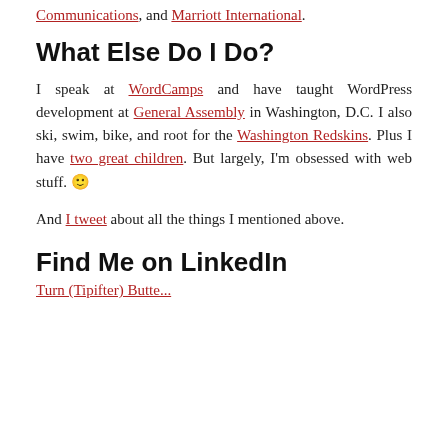Communications, and Marriott International.
What Else Do I Do?
I speak at WordCamps and have taught WordPress development at General Assembly in Washington, D.C. I also ski, swim, bike, and root for the Washington Redskins. Plus I have two great children. But largely, I'm obsessed with web stuff. 🙂
And I tweet about all the things I mentioned above.
Find Me on LinkedIn
Turn (Tipifter) Butte...